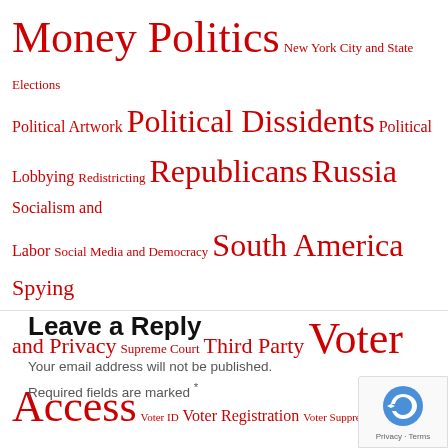Money Politics New York City and State Elections Political Artwork Political Dissidents Political Lobbying Redistricting Republicans Russia Socialism and Labor Social Media and Democracy South America Spying and Privacy Supreme Court Third Party Voter Access Voter ID Voter Registration Voter Suppression Voter Turnout Voting Technology Women Voting Rights Worldwide Worldwide Corruption
Leave a Reply
Your email address will not be published. Required fields are marked *